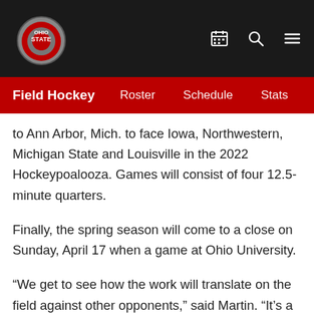Ohio State | Field Hockey | Roster | Schedule | Stats
to Ann Arbor, Mich. to face Iowa, Northwestern, Michigan State and Louisville in the 2022 Hockeypoalooza. Games will consist of four 12.5-minute quarters.
Finally, the spring season will come to a close on Sunday, April 17 when a game at Ohio University.
“We get to see how the work will translate on the field against other opponents,” said Martin. “It’s a great spring line up facing various styles of play and some high level competition that will challenge our game in a lot of ways. I am looking forward to seeing the team compete and how individuals step in to game play that might not have had a lot of chances in the fall.”